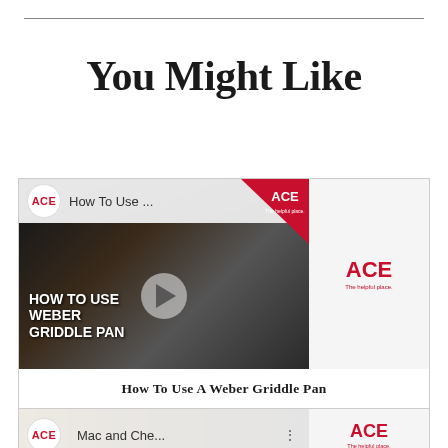You Might Like
[Figure (screenshot): Video thumbnail for 'How To Use A Weber Griddle Pan' from ACE Hardware YouTube. Shows ACE logo, play button overlay, and text 'HOW TO USE A WEBER GRIDDLE PAN' with cast iron pan. ACE badge in top right corner.]
How To Use A Weber Griddle Pan
VIDEO
[Figure (screenshot): Partial video thumbnail for 'Mac and Che...' from ACE Hardware YouTube. Shows ACE logo and partial title text.]